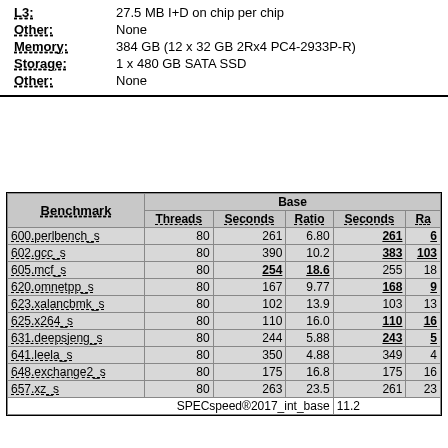| Field | Value |
| --- | --- |
| L3: | 27.5 MB I+D on chip per chip |
| Other: | None |
| Memory: | 384 GB (12 x 32 GB 2Rx4 PC4-2933P-R) |
| Storage: | 1 x 480 GB SATA SSD |
| Other: | None |
| Benchmark | Threads | Seconds | Ratio | Seconds | Ra... |
| --- | --- | --- | --- | --- | --- |
| 600.perlbench_s | 80 | 261 | 6.80 | 261 | 6... |
| 602.gcc_s | 80 | 390 | 10.2 | 383 | 103... |
| 605.mcf_s | 80 | 254 | 18.6 | 255 | 18... |
| 620.omnetpp_s | 80 | 167 | 9.77 | 168 | 9... |
| 623.xalancbmk_s | 80 | 102 | 13.9 | 103 | 13... |
| 625.x264_s | 80 | 110 | 16.0 | 110 | 16... |
| 631.deepsjeng_s | 80 | 244 | 5.88 | 243 | 5... |
| 641.leela_s | 80 | 350 | 4.88 | 349 | 4... |
| 648.exchange2_s | 80 | 175 | 16.8 | 175 | 16... |
| 657.xz_s | 80 | 263 | 23.5 | 261 | 23... |
SPECspeed®2017_int_base  11.2